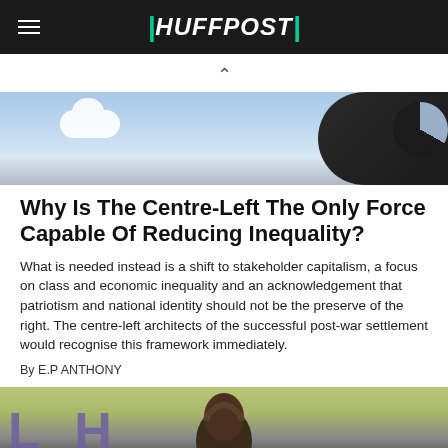HUFFPOST
[Figure (photo): Partial view of a person against a blue sky with clouds, showing a dark jacket/arm]
Why Is The Centre-Left The Only Force Capable Of Reducing Inequality?
What is needed instead is a shift to stakeholder capitalism, a focus on class and economic inequality and an acknowledgement that patriotism and national identity should not be the preserve of the right. The centre-left architects of the successful post-war settlement would recognise this framework immediately.
By E.P ANTHONY
[Figure (photo): Close-up of a person's head/hair against a green background with purple text overlay]